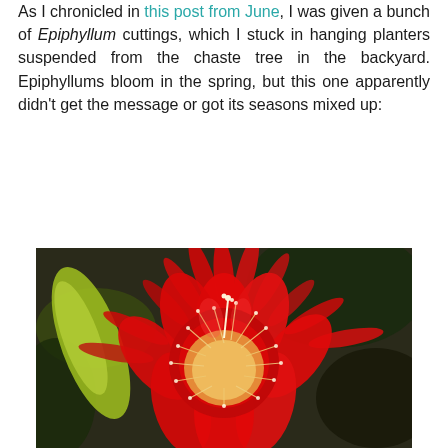As I chronicled in this post from June, I was given a bunch of Epiphyllum cuttings, which I stuck in hanging planters suspended from the chaste tree in the backyard. Epiphyllums bloom in the spring, but this one apparently didn't get the message or got its seasons mixed up:
[Figure (photo): Close-up photograph of a large, vivid red Epiphyllum (orchid cactus) flower in full bloom, showing bright red petals radiating outward and numerous cream/yellow stamens and pistils in the center, with green foliage and dark background visible.]